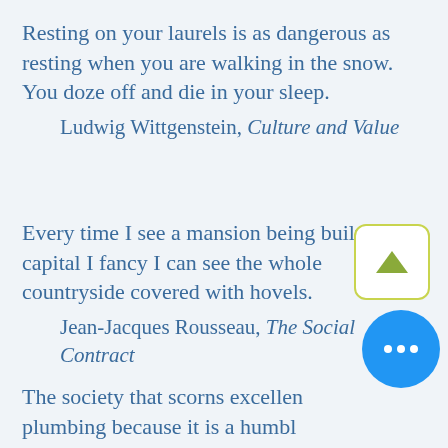Resting on your laurels is as dangerous as resting when you are walking in the snow. You doze off and die in your sleep.
    Ludwig Wittgenstein, Culture and Value
Every time I see a mansion being built in the capital I fancy I can see the whole countryside covered with hovels.
    Jean-Jacques Rousseau, The Social Contract
The society that scorns excellence in plumbing because it is a humble activity, yet accepts shoddiness in